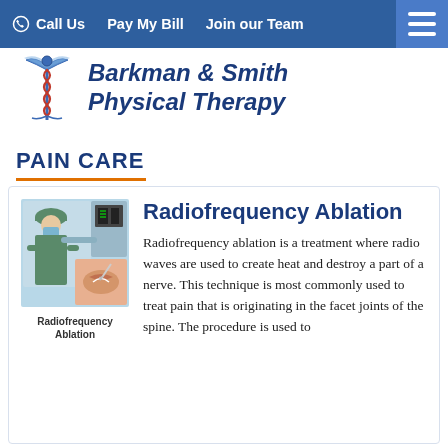Call Us  Pay My Bill  Join our Team
[Figure (logo): Barkman & Smith Physical Therapy logo with caduceus symbol]
Barkman & Smith Physical Therapy
PAIN CARE
[Figure (illustration): Medical illustration showing Radiofrequency Ablation procedure with a surgeon and anatomical nerve diagram]
Radiofrequency Ablation
Radiofrequency Ablation
Radiofrequency ablation is a treatment where radio waves are used to create heat and destroy a part of a nerve. This technique is most commonly used to treat pain that is originating in the facet joints of the spine. The procedure is used to